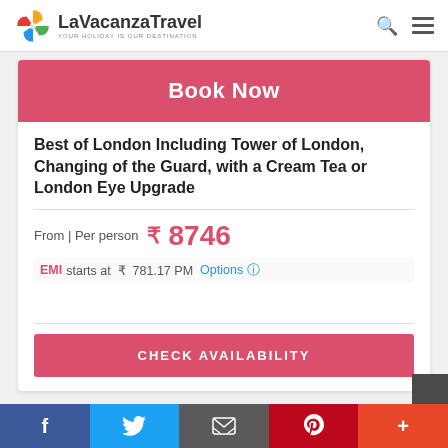LaVacanzaTravel — YOUR HOLIDAY IS OUR DESTINATION
Book Now
Best of London Including Tower of London, Changing of the Guard, with a Cream Tea or London Eye Upgrade
From | Per person  ₹  8746
EMI starts at  ₹  781.17 PM  Options ⓘ
CHECK AVAILABILITY